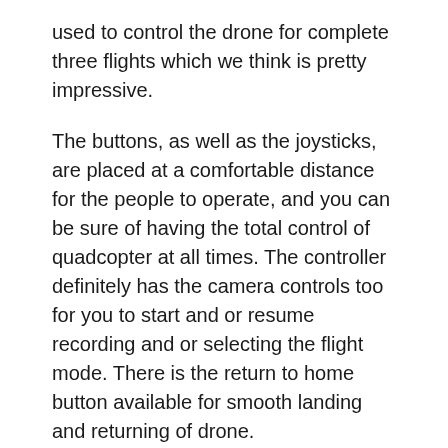used to control the drone for complete three flights which we think is pretty impressive.
The buttons, as well as the joysticks, are placed at a comfortable distance for the people to operate, and you can be sure of having the total control of quadcopter at all times. The controller definitely has the camera controls too for you to start and or resume recording and or selecting the flight mode. There is the return to home button available for smooth landing and returning of drone.
Is DJI Phantom 4 Quadcopter Worth the Money?
The Phantom 4 is a must buy for